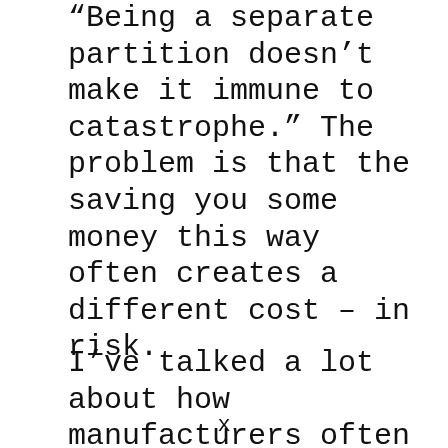“Being a separate partition doesn’t make it immune to catastrophe.” The problem is that the saving you some money this way often creates a different cost – in risk.
I’ve talked a lot about how manufacturers often don’t include a Windows installation disc any more. All they give you is the pre-installed version of Windows on the machine, and a “recovery” disk. The recovery disk can’t be used to install Windows